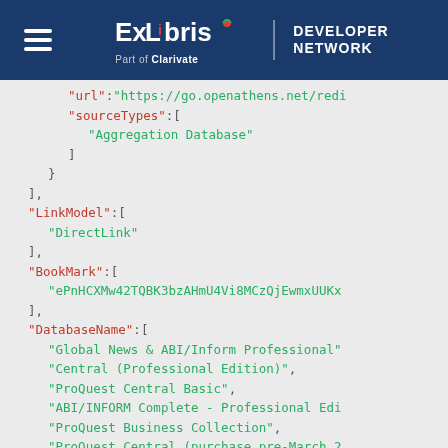[Figure (logo): ExLibris Developer Network header logo on dark blue background with hamburger menu icon]
"url":"https://go.openathens.net/redi
"sourceTypes":[
"Aggregation Database"
]
}
],
"LinkModel":[
"DirectLink"
],
"BookMark":[
"ePnHCXMw42TQBK3bzAHmU4Vi8MCzQjEwmxUUKx
],
"DatabaseName":[
"Global News & ABI/Inform Professional"
"Central (Professional Edition)",
"ProQuest Central Basic",
"ABI/INFORM Complete - Professional Edi
"ProQuest Business Collection",
"ProQuest Central (purchase pre-March 2
"ABI/INFORM Collection (Alumni Edition)
"ProQuest Central (Alumni) (purchase